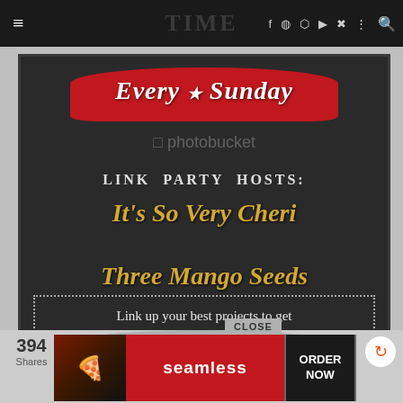≡  TIME  f  p  instagram  youtube  twitter  |  search
[Figure (infographic): Chalkboard-style promotional image for a Sunday Link Party. Red curved banner at top reads 'Every ★ Sunday'. Below: 'Link Party Hosts:' in white serif text. Host names 'It's So Very Cheri' and 'Three Mango Seeds' in gold italic. Dotted border box at bottom reads 'Link up your best projects to get Pinned, G+'d & or featured on Facebook!!' Photobucket watermark overlaid.]
[Figure (infographic): Bottom advertisement banner for Seamless food ordering with pizza image on left, red Seamless logo in center, and 'ORDER NOW' button on right with CLOSE button above.]
394 Shares